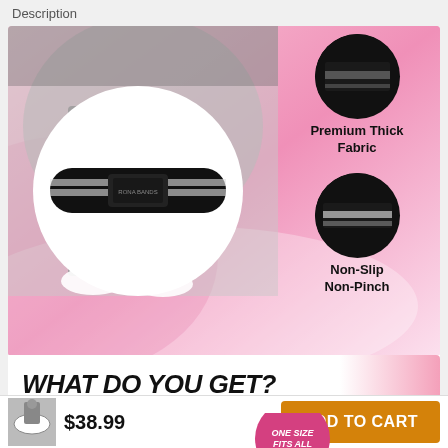Description
[Figure (photo): Product listing image for leg occlusion training bands. Shows a gym scene with a woman's legs, a close-up of a black resistance band with white stripes in a white circle, and two circular feature callouts: 'Premium Thick Fabric' and 'Non-Slip Non-Pinch'. Pink gradient background with swoosh shapes.]
Premium Thick Fabric
Non-Slip
Non-Pinch
WHAT DO YOU GET?
ONE SIZE FITS ALL
2x
Leg Occlusion Training Bands
$38.99
ADD TO CART